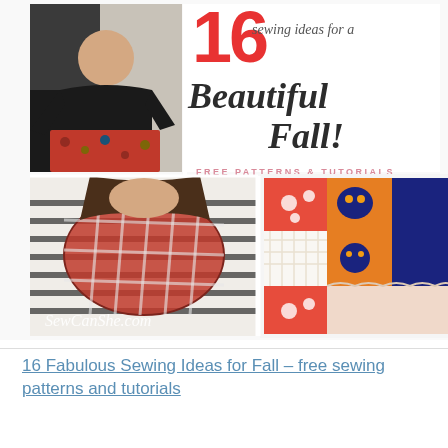[Figure (photo): Collage image for a sewing blog post: top-left shows a woman in a long black cardigan and floral dress; top-right has large red '16', italic text 'sewing ideas for a Beautiful Fall!' and 'FREE PATTERNS & TUTORIALS' in pink. Bottom-left is a woman wearing a plaid flannel infinity scarf over a striped shirt with SewCanShe.com watermark; bottom-right shows colorful Halloween-themed rag quilt pieces being held up.]
16 Fabulous Sewing Ideas for Fall – free sewing patterns and tutorials